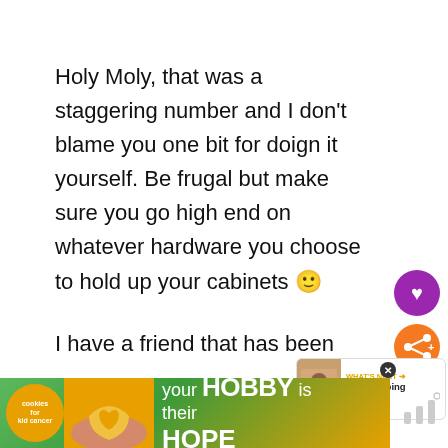Holy Moly, that was a staggering number and I don't blame you one bit for doign it yourself. Be frugal but make sure you go high end on whatever hardware you choose to hold up your cabinets 🙂
I have a friend that has been
[Figure (infographic): Purple circle button with white heart icon (like/favorite button)]
[Figure (infographic): Orange circle button with white share/add icon]
[Figure (infographic): What's Next promo box showing 'My Shopping Stylist...' with small image]
[Figure (infographic): Bottom advertisement banner: cookies and kids cancer charity, 'your HOBBY is their HOPE' with green/orange background and heart cookie image]